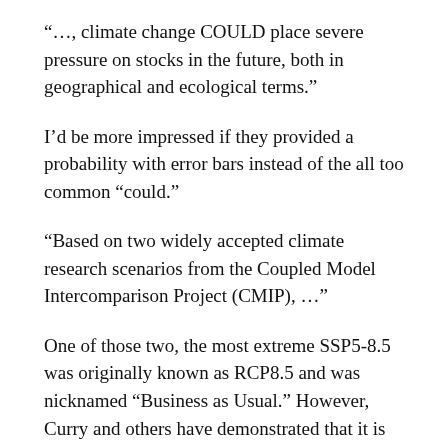“…, climate change COULD place severe pressure on stocks in the future, both in geographical and ecological terms.”
I’d be more impressed if they provided a probability with error bars instead of the all too common “could.”
“Based on two widely accepted climate research scenarios from the Coupled Model Intercomparison Project (CMIP), …”
One of those two, the most extreme SSP5-8.5 was originally known as RCP8.5 and was nicknamed “Business as Usual.” However, Curry and others have demonstrated that it is unlikely because